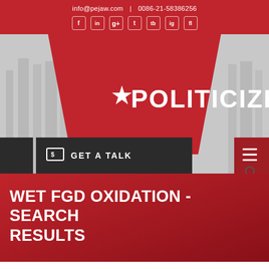info@pejaw.com  |  0086-21-58386256
[Figure (logo): POLITICIZE logo with red star in white text on red trapezoid banner against gray background, with social media icons and navigation bar including GET A TALK button]
WET FGD OXIDATION - SEARCH RESULTS